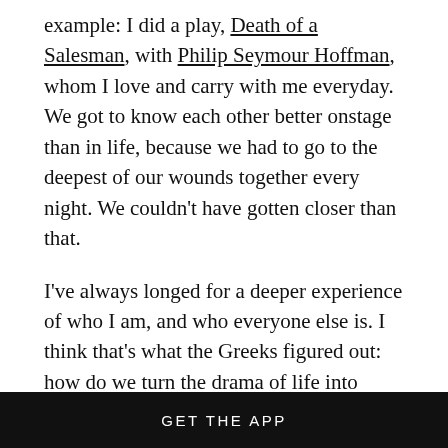example: I did a play, Death of a Salesman, with Philip Seymour Hoffman, whom I love and carry with me everyday. We got to know each other better onstage than in life, because we had to go to the deepest of our wounds together every night. We couldn't have gotten closer than that.
I've always longed for a deeper experience of who I am, and who everyone else is. I think that's what the Greeks figured out: how do we turn the drama of life into theater, while making sense of chaos and love and grief?
But whenever you find something that matters, pain
GET THE APP